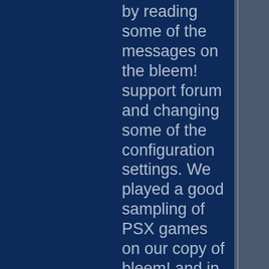can be fixed by reading some of the messages on the bleem! support forum and changing some of the configuration settings. We played a good sampling of PSX games on our copy of bleem! and in